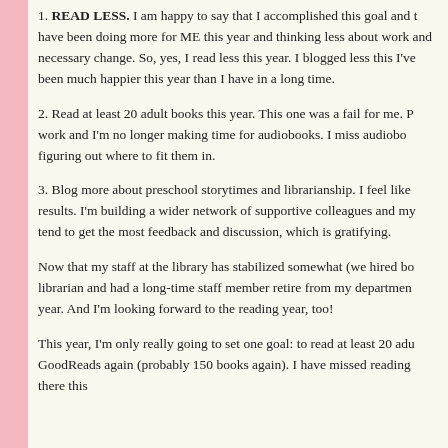1. READ LESS. I am happy to say that I accomplished this goal and have been doing more for ME this year and thinking less about work and necessary change. So, yes, I read less this year. I blogged less this I've been much happier this year than I have in a long time.
2. Read at least 20 adult books this year. This one was a fail for me. work and I'm no longer making time for audiobooks. I miss audiobooks figuring out where to fit them in.
3. Blog more about preschool storytimes and librarianship. I feel like results. I'm building a wider network of supportive colleagues and my tend to get the most feedback and discussion, which is gratifying.
Now that my staff at the library has stabilized somewhat (we hired bo librarian and had a long-time staff member retire from my departmen year. And I'm looking forward to the reading year, too!
This year, I'm only really going to set one goal: to read at least 20 adu GoodReads again (probably 150 books again). I have missed reading there this